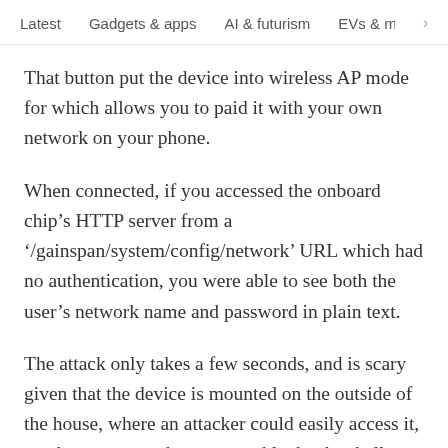Latest   Gadgets & apps   AI & futurism   EVs & mobil  >
That button put the device into wireless AP mode for which allows you to paid it with your own network on your phone.
When connected, if you accessed the onboard chip's HTTP server from a '/gainspan/system/config/network' URL which had no authentication, you were able to see both the user's network name and password in plain text.
The attack only takes a few seconds, and is scary given that the device is mounted on the outside of the house, where an attacker could easily access it, crack your network, re-asssemble the doorbell, then